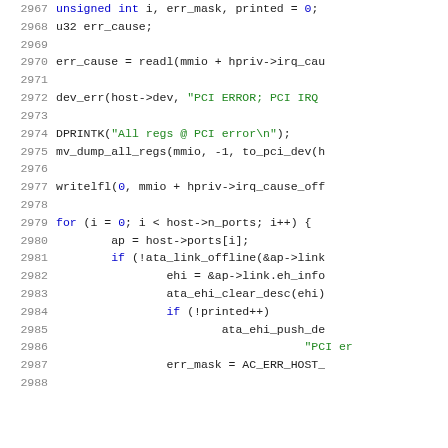[Figure (screenshot): Source code listing in C showing lines 2967-2988, a function handling PCI error interrupts with variable declarations, error cause reading, device error logging, register dump, and a for loop iterating ports.]